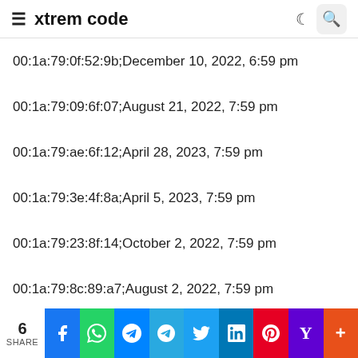xtrem code
00:1a:79:0f:52:9b;December 10, 2022, 6:59 pm
00:1a:79:09:6f:07;August 21, 2022, 7:59 pm
00:1a:79:ae:6f:12;April 28, 2023, 7:59 pm
00:1a:79:3e:4f:8a;April 5, 2023, 7:59 pm
00:1a:79:23:8f:14;October 2, 2022, 7:59 pm
00:1a:79:8c:89:a7;August 2, 2022, 7:59 pm